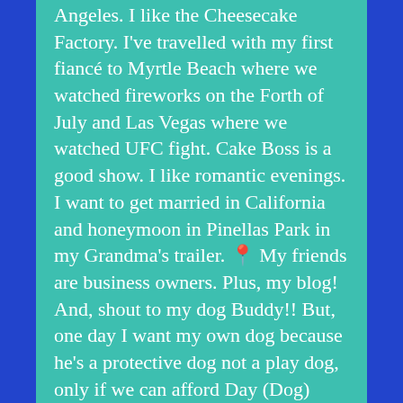Angeles. I like the Cheesecake Factory. I've travelled with my first fiancé to Myrtle Beach where we watched fireworks on the Forth of July and Las Vegas where we watched UFC fight. Cake Boss is a good show. I like romantic evenings. I want to get married in California and honeymoon in Pinellas Park in my Grandma's trailer. 📍 My friends are business owners. Plus, my blog! And, shout to my dog Buddy!! But, one day I want my own dog because he's a protective dog not a play dog, only if we can afford Day (Dog) Care!!!! lol Whew! 📍
View all posts by Nicole LoPresti
2018-09-12